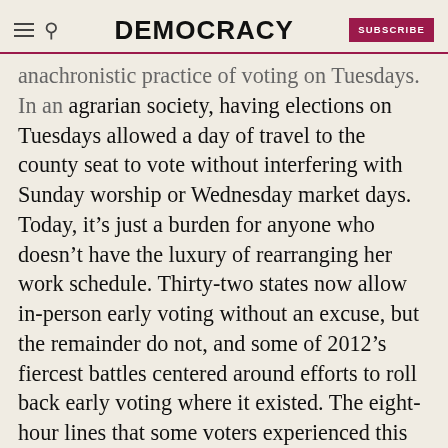DEMOCRACY | SUBSCRIBE
anachronistic practice of voting on Tuesdays. In an agrarian society, having elections on Tuesdays allowed a day of travel to the county seat to vote without interfering with Sunday worship or Wednesday market days. Today, it’s just a burden for anyone who doesn’t have the luxury of rearranging her work schedule. Thirty-two states now allow in-person early voting without an excuse, but the remainder do not, and some of 2012’s fiercest battles centered around efforts to roll back early voting where it existed. The eight-hour lines that some voters experienced this year should be recognized as a breach of a state’s constitutional obligations to an individual’s right to vote.